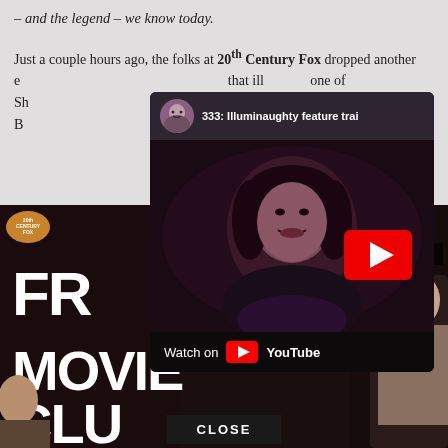– and the legend – we know today.
Just a couple hours ago, the folks at 20th Century Fox dropped another exclusive clip from Mister Ford, a tale that illustrates one of Sh... life from death. B...
[Figure (screenshot): YouTube video popup overlay showing '333: Illuminaughty feature trai' with a dark thumbnail image of a woman and YouTube play button, Watch on YouTube footer, and CLOSE button below]
[Figure (screenshot): Background movie promotional image showing '20th Century Fox' logo, text 'FR', 'MOVIE CLUB' in white bold letters on dark background, with 'Clip [HD]' label and two people visible]